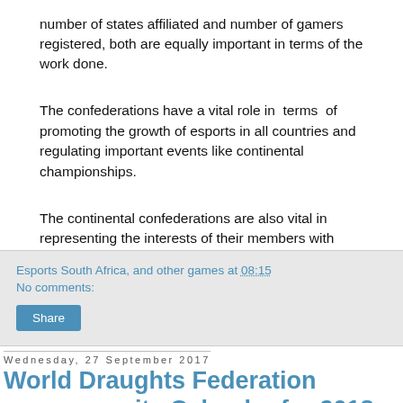number of states affiliated and number of gamers registered, both are equally important in terms of the work done.
The confederations have a vital role in terms of promoting the growth of esports in all countries and regulating important events like continental championships.
The continental confederations are also vital in representing the interests of their members with IeSF, government and the like.
Esports South Africa, and other games at 08:15
No comments:
Share
Wednesday, 27 September 2017
World Draughts Federation announces its Calendar for 2018.